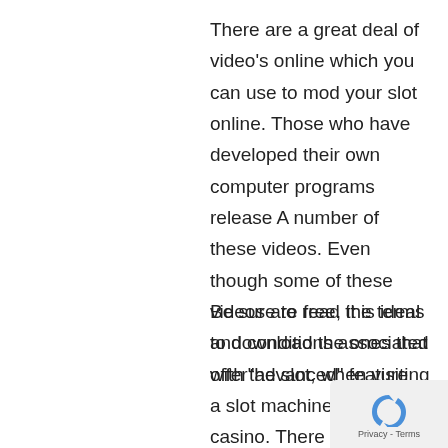There are a great deal of video's online which you can use to mod your slot online. Those who have developed their own computer programs release A number of these videos. Even though some of these videos are free, it is ideal to download the ones that offer"advanced" feature
Be sure to read the terms and conditions associated with the slot, when visiting a slot machine online casino. There are things and constraints before you can start playing you will need to know. This is important to understand before you
[Figure (logo): reCAPTCHA privacy badge with spinning arrows icon and Privacy - Terms text]